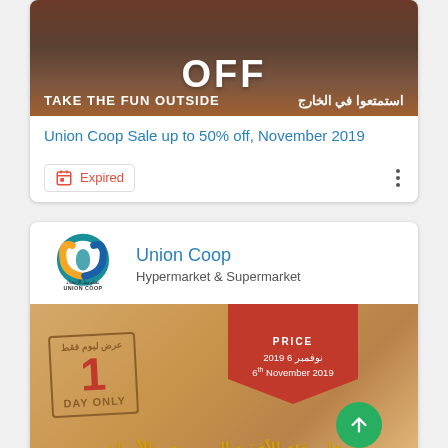[Figure (photo): Promotional banner image with text OFF and TAKE THE FUN OUTSIDE | استمتعوا في الخارج]
Union Coop Sale up to 50% off, November 2019
Expired
[Figure (logo): Union Coop logo with Arabic text تعاونية الاتحاد and UNION COOP]
Union Coop
Hypermarket & Supermarket
[Figure (photo): Promotional flyer image: price tag red shape, 1 DAY ONLY box, date 6 نوفمبر 2019 / 6th November 2019, Arabic text on frozen foods category]